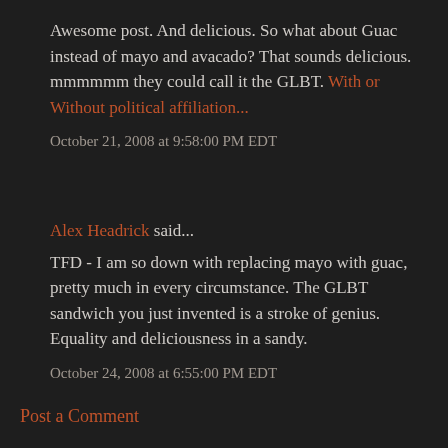Awesome post. And delicious. So what about Guac instead of mayo and avacado? That sounds delicious. mmmmmm they could call it the GLBT. With or Without political affiliation...
October 21, 2008 at 9:58:00 PM EDT
Alex Headrick said...
TFD - I am so down with replacing mayo with guac, pretty much in every circumstance. The GLBT sandwich you just invented is a stroke of genius. Equality and deliciousness in a sandy.
October 24, 2008 at 6:55:00 PM EDT
Post a Comment